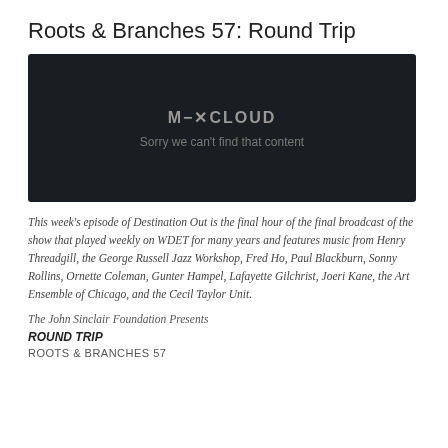Roots & Branches 57: Round Trip
[Figure (screenshot): Mixcloud embedded player showing error: 'Sorry we can't find that content' on dark background]
This week's episode of Destination Out is the final hour of the final broadcast of the show that played weekly on WDET for many years and features music from Henry Threadgill, the George Russell Jazz Workshop, Fred Ho, Paul Blackburn, Sonny Rollins, Ornette Coleman, Gunter Hampel, Lafayette Gilchrist, Joeri Kane, the Art Ensemble of Chicago, and the Cecil Taylor Unit.
The John Sinclair Foundation Presents
ROUND TRIP
ROOTS & BRANCHES 57